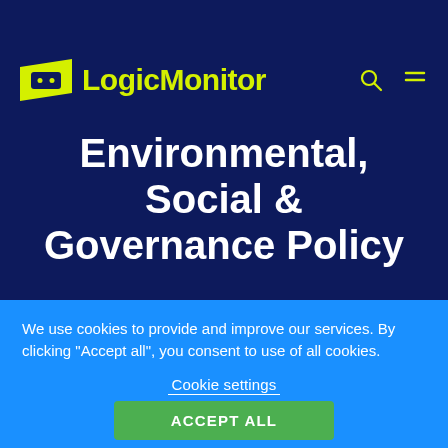[Figure (logo): LogicMonitor logo with yellow speech-bubble icon and yellow text 'LogicMonitor' on dark navy background, with search and hamburger menu icons top right]
Environmental, Social & Governance Policy
We use cookies to provide and improve our services. By clicking "Accept all", you consent to use of all cookies.
Cookie settings
ACCEPT ALL